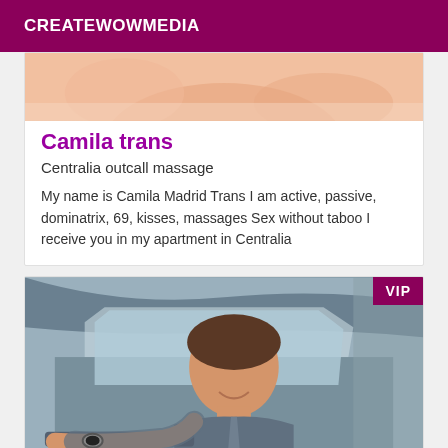CREATEWOWMEDIA
[Figure (photo): Cropped photo showing skin/hands on a light background at the top of a listing card]
Camila trans
Centralia outcall massage
My name is Camila Madrid Trans I am active, passive, dominatrix, 69, kisses, massages Sex without taboo I receive you in my apartment in Centralia
[Figure (photo): Photo of a young man in a suit sitting in a car, smiling, with a VIP badge in the top right corner]